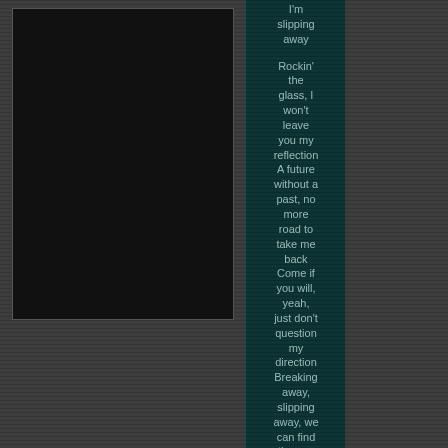[Figure (photo): Black rectangle representing album art or image placeholder on dark grey background]
I'm slipping away

Rockin' the glass, I won't leave you my reflection A future without a past, no more road to take me back Come if you will, yeah, just don't question my direction Breaking away, slipping away, we can find the sun

Slipping away Slipping away Got nobody
[Figure (other): Dark grey striped panel on the right side]